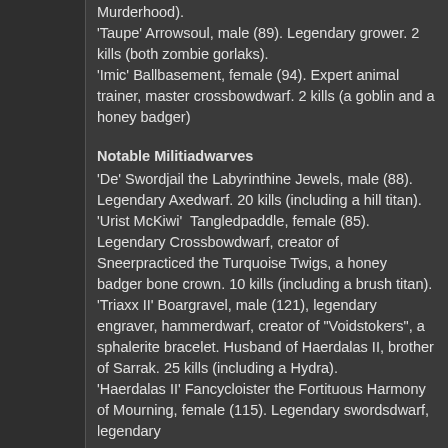Murderhood).
'Taupe' Arrowsoul, male (89). Legendary grower. 2 kills (both zombie gorlaks).
'Imic' Ballbasement, female (94). Expert animal trainer, master crossbowdwarf. 2 kills (a goblin and a honey badger)
Notable Militiadwarves
'De' Swordjail the Labyrinthine Jewels, male (88). Legendary Axedwarf. 20 kills (including a hill titan).
'Urist McKiwi'  Tangledpaddle, female (85). Legendary Crossbowdwarf, creator of Sneerpracticed the Turquoise Twigs, a honey badger bone crown. 10 kills (including a brush titan).
'Triaxx II' Boargravel, male (121), legendary engraver, hammerdwarf, creator of "Voidstokers", a sphalerite bracelet. Husband of Haerdalas II, brother of Sarrak. 25 kills (including a Hydra).
'Haerdalas II' Fancycloister the Fortituous Harmony of Mourning, female (115). Legendary swordsdwarf, legendary engraver. 17 kills (including a